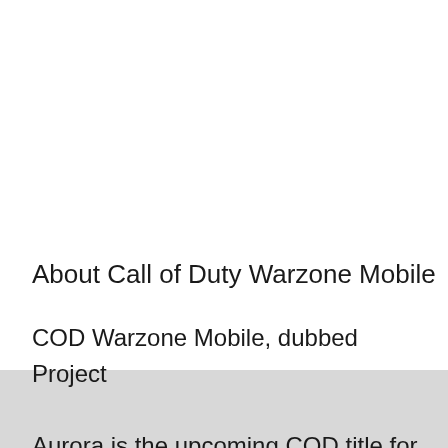About Call of Duty Warzone Mobile
COD Warzone Mobile, dubbed Project Aurora is the upcoming COD title for